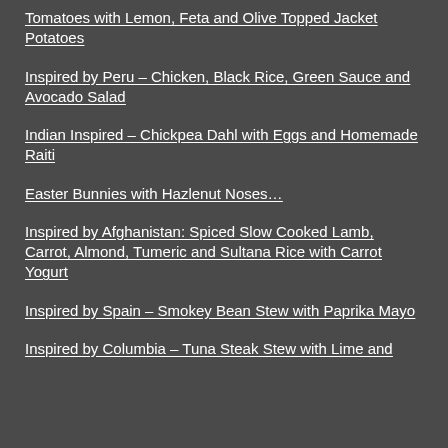Tomatoes with Lemon, Feta and Olive Topped Jacket Potatoes
Inspired by Peru – Chicken, Black Rice, Green Sauce and Avocado Salad
Indian Inspired – Chickpea Dahl with Eggs and Homemade Raiti
Easter Bunnies with Hazlenut Noses…
Inspired by Afghanistan: Spiced Slow Cooked Lamb, Carrot, Almond, Tumeric and Sultana Rice with Carrot Yogurt
Inspired by Spain – Smokey Bean Stew with Paprika Mayo
Inspired by Columbia – Tuna Steak Stew with Lime and